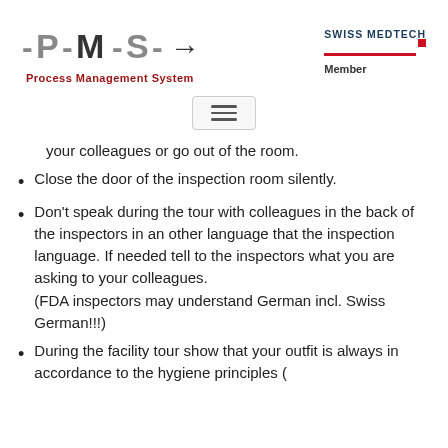[Figure (logo): PMS Process Management System logo with dashes and arrow, alongside Swiss Medtech Member logo]
[Figure (other): Hamburger menu icon (three horizontal lines) in a rounded rectangle box]
your colleagues or go out of the room.
Close the door of the inspection room silently.
Don't speak during the tour with colleagues in the back of the inspectors in an other language that the inspection language. If needed tell to the inspectors what you are asking to your colleagues.
(FDA inspectors may understand German incl. Swiss German!!!)
During the facility tour show that your outfit is always in accordance to the hygiene principles (